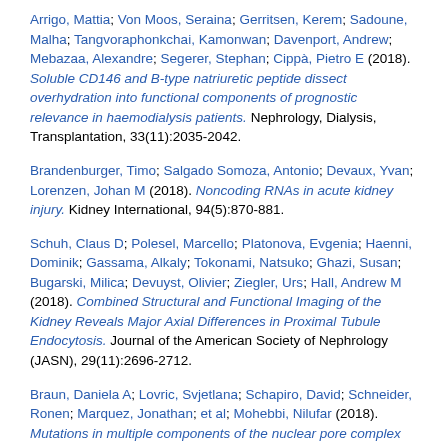Arrigo, Mattia; Von Moos, Seraina; Gerritsen, Kerem; Sadoune, Malha; Tangvoraphonkchai, Kamonwan; Davenport, Andrew; Mebazaa, Alexandre; Segerer, Stephan; Cippà, Pietro E (2018). Soluble CD146 and B-type natriuretic peptide dissect overhydration into functional components of prognostic relevance in haemodialysis patients. Nephrology, Dialysis, Transplantation, 33(11):2035-2042.
Brandenburger, Timo; Salgado Somoza, Antonio; Devaux, Yvan; Lorenzen, Johan M (2018). Noncoding RNAs in acute kidney injury. Kidney International, 94(5):870-881.
Schuh, Claus D; Polesel, Marcello; Platonova, Evgenia; Haenni, Dominik; Gassama, Alkaly; Tokonami, Natsuko; Ghazi, Susan; Bugarski, Milica; Devuyst, Olivier; Ziegler, Urs; Hall, Andrew M (2018). Combined Structural and Functional Imaging of the Kidney Reveals Major Axial Differences in Proximal Tubule Endocytosis. Journal of the American Society of Nephrology (JASN), 29(11):2696-2712.
Braun, Daniela A; Lovric, Svjetlana; Schapiro, David; Schneider, Ronen; Marquez, Jonathan; et al; Mohebbi, Nilufar (2018). Mutations in multiple components of the nuclear pore complex cause nephrotic syndrome. Journal of Clinical Investigation,